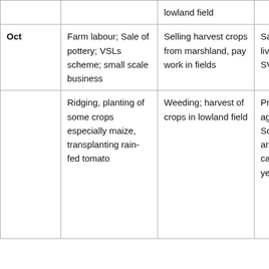|  |  | lowland field |  |
| Oct | Farm labour; Sale of pottery; VSLs scheme; small scale business | Selling harvest crops from marshland, pay work in fields | Sale of small livestock, piece wok, SVLs Scheme |
|  | Ridging, planting of some crops especially maize, transplanting rain-fed tomato | Weeding; harvest of crops in lowland field | Prepare for Season A agriculture season; Sow beans and maize and cassava; harvest cassava of previous year |